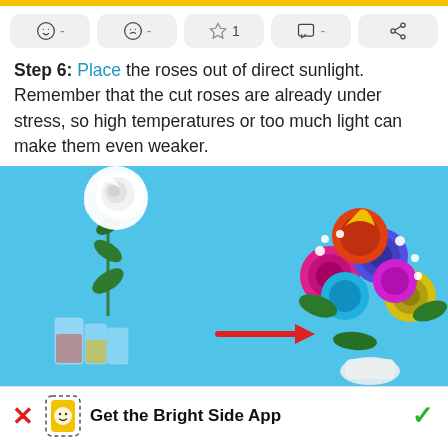[Figure (infographic): Top icon/action bar with emoji face, sad face, star with '1', speech bubble, and share icon buttons on light gray rounded backgrounds]
Step 6: Place the roses out of direct sunlight. Remember that the cut roses are already under stress, so high temperatures or too much light can make them even weaker.
[Figure (illustration): Light blue background illustration showing a single white rose in glasses of colored water on the left, a red arrow pointing right, and a colorful rainbow rose bouquet on the right.]
Get the Bright Side App